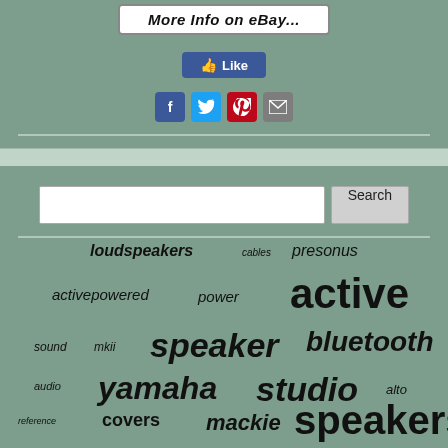More Info on eBay...
[Figure (screenshot): Facebook Like button (blue)]
[Figure (screenshot): Social share icons: Facebook, Twitter, Pinterest, Email]
[Figure (infographic): Tag cloud with words: loudspeakers, cables, presonus, activepowered, power, active, sound, mkii, speaker, bluetooth, audio, yamaha, studio, alto, reference, covers, mackie, speakers, powered, rokit, monitor]